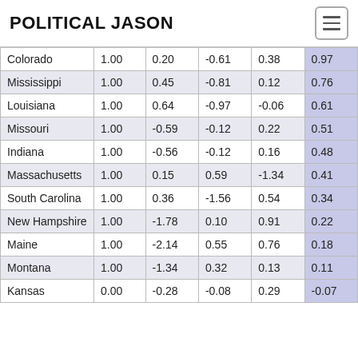POLITICAL JASON
| State | Col1 | Col2 | Col3 | Col4 | Col5 |
| --- | --- | --- | --- | --- | --- |
| Colorado | 1.00 | 0.20 | -0.61 | 0.38 | 0.97 |
| Mississippi | 1.00 | 0.45 | -0.81 | 0.12 | 0.76 |
| Louisiana | 1.00 | 0.64 | -0.97 | -0.06 | 0.61 |
| Missouri | 1.00 | -0.59 | -0.12 | 0.22 | 0.51 |
| Indiana | 1.00 | -0.56 | -0.12 | 0.16 | 0.48 |
| Massachusetts | 1.00 | 0.15 | 0.59 | -1.34 | 0.41 |
| South Carolina | 1.00 | 0.36 | -1.56 | 0.54 | 0.34 |
| New Hampshire | 1.00 | -1.78 | 0.10 | 0.91 | 0.22 |
| Maine | 1.00 | -2.14 | 0.55 | 0.76 | 0.18 |
| Montana | 1.00 | -1.34 | 0.32 | 0.13 | 0.11 |
| Kansas | 0.00 | -0.28 | -0.08 | 0.29 | -0.07 |